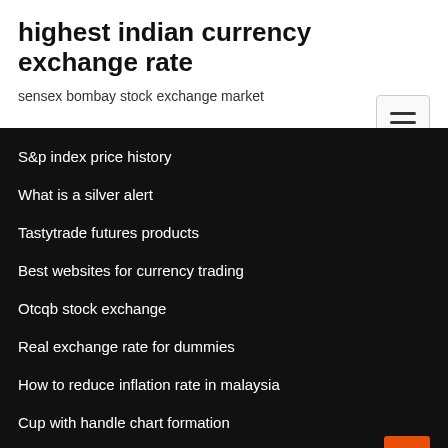highest indian currency exchange rate
sensex bombay stock exchange market
S&p index price history
What is a silver alert
Tastytrade futures products
Best websites for currency trading
Otcqb stock exchange
Real exchange rate for dummies
How to reduce inflation rate in malaysia
Cup with handle chart formation
Nifty historical chart since 1990